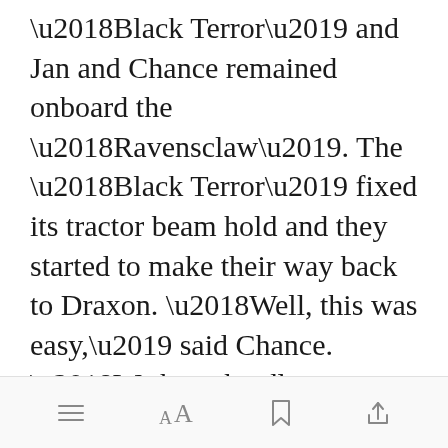‘Black Terror’ and Jan and Chance remained onboard the ‘Ravensclaw’. The ‘Black Terror’ fixed its tractor beam hold and they started to make their way back to Draxon. ‘Well, this was easy,’ said Chance. ‘We have hardly seen any action, and we already have goods to bring back to the guild. They will think favourably of us, don’t you think Jan?’Jan nodded and o[Open in app]can of beer.
[menu] [font] [bookmark] [share]